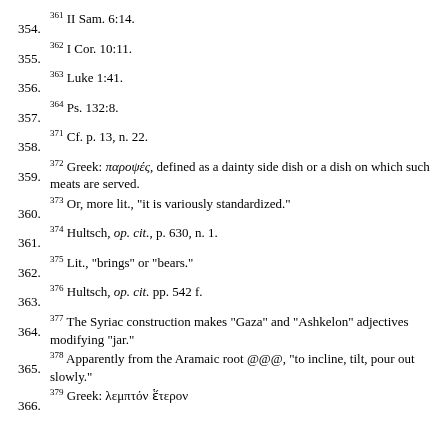354. [361] II Sam. 6:14.
355. [362] I Cor. 10:11.
356. [363] Luke 1:41.
357. [364] Ps. 132:8.
358. [371] Cf. p. 13, n. 22.
359. [372] Greek: παροψές, defined as a dainty side dish or a dish on which such meats are served.
360. [373] Or, more lit., "it is variously standardized."
361. [374] Hultsch, op. cit., p. 630, n. 1.
362. [375] Lit., "brings" or "bears."
363. [376] Hultsch, op. cit. pp. 542 f.
364. [377] The Syriac construction makes "Gaza" and "Ashkelon" adjectives modifying "jar."
365. [378] Apparently from the Aramaic root @@@, "to incline, tilt, pour out slowly."
366. [379] Greek: λεμπτόν ἕτερον